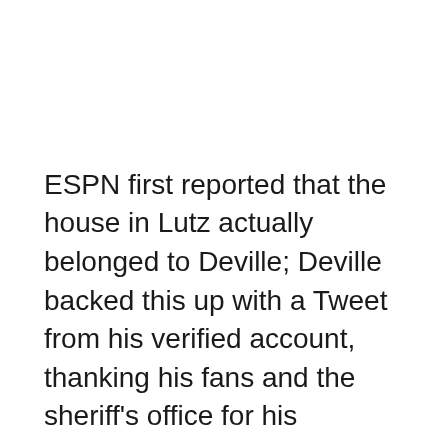ESPN first reported that the house in Lutz actually belonged to Deville; Deville backed this up with a Tweet from his verified account, thanking his fans and the sheriff's office for his